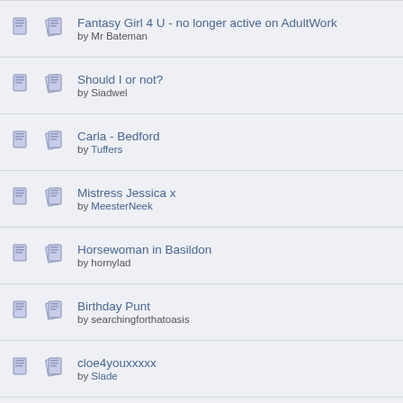Fantasy Girl 4 U - no longer active on AdultWork by Mr Bateman
Should I or not? by Siadwel
Carla - Bedford by Tuffers
Mistress Jessica x by MeesterNeek
Horsewoman in Basildon by hornylad
Birthday Punt by searchingforthatoasis
cloe4youxxxxx by Slade
ladyanabell in Basildon by disgracedpolitician
Ava Stone by pussypilot